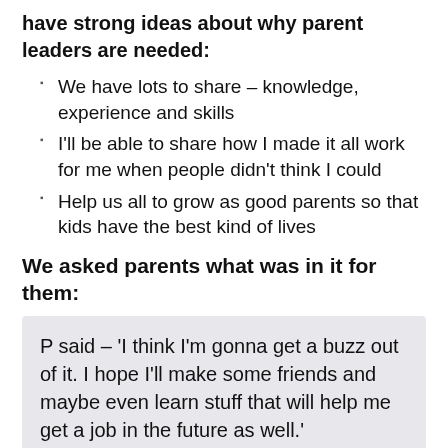have strong ideas about why parent leaders are needed:
We have lots to share – knowledge, experience and skills
I'll be able to share how I made it all work for me when people didn't think I could
Help us all to grow as good parents so that kids have the best kind of lives
We asked parents what was in it for them:
P said – 'I think I'm gonna get a buzz out of it. I hope I'll make some friends and maybe even learn stuff that will help me get a job in the future as well.'